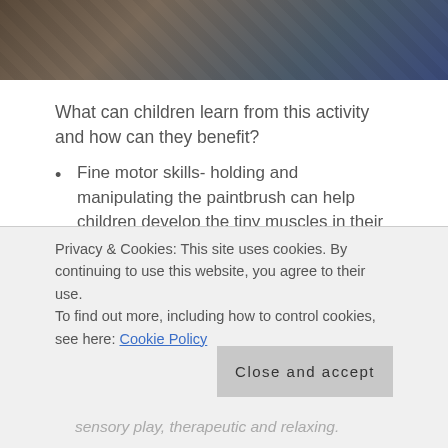[Figure (photo): Top portion of a photo showing what appears to be an art/painting activity setup, with dark background and blue container visible]
What can children learn from this activity and how can they benefit?
Fine motor skills- holding and manipulating the paintbrush can help children develop the tiny muscles in their hands and fingers that are required for learning to write. This could also be used an activity to improve pencil grip.
Patience and attention to detail- children can practise both these skills, taking their time to...
Privacy & Cookies: This site uses cookies. By continuing to use this website, you agree to their use.
To find out more, including how to control cookies, see here: Cookie Policy
sensory play, therapeutic and relaxing.